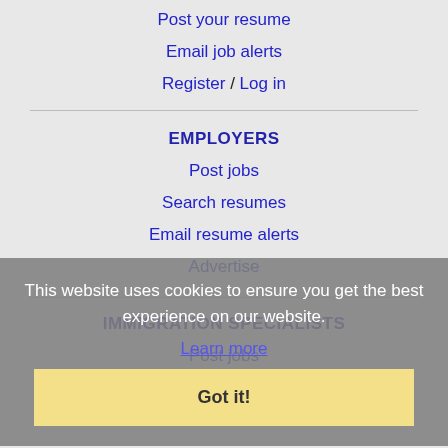Post your resume
Email job alerts
Register / Log in
EMPLOYERS
Post jobs
Search resumes
Email resume alerts
Advertise
This website uses cookies to ensure you get the best experience on our website.
Learn more
IMMIGRATION SPECIALISTS
Post jobs
Immigration FAQs
Learn more
Got it!